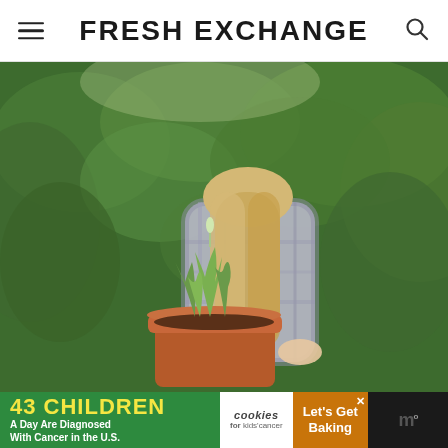FRESH EXCHANGE
[Figure (photo): A woman with long blonde hair, seen from behind, holding a large terracotta pot with a herb plant (thyme) in front of a lush green hedge/bush background. She is wearing a plaid blue and white short-sleeve shirt.]
[Figure (infographic): Advertisement banner: '43 CHILDREN A Day Are Diagnosed With Cancer in the U.S.' with Cookies for Kids' Cancer logo and 'Let's Get Baking' call to action on an orange background. Close button (X) visible. Monocle (W) logo on the right.]